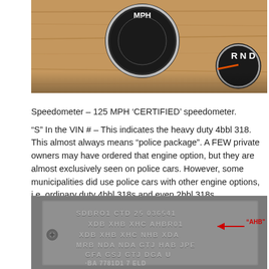[Figure (photo): Close-up photo of a car speedometer showing 'MPH' label and gear selector showing 'R N D', with wood-grain dashboard background]
Speedometer – 125 MPH ‘CERTIFIED’ speedometer.
“S” In the VIN # – This indicates the heavy duty 4bbl 318. This almost always means “police package”. A FEW private owners may have ordered that engine option, but they are almost exclusively seen on police cars. However, some municipalities did use police cars with other engine options, i.e. ordinary duty 4bbl 318s and even 2bbl 318s.
[Figure (photo): Close-up photo of a metal data plate/tag with embossed codes including SDBRО1 CTD 25 036541, XDB XHB XHC AHBR01 with red arrow pointing to 'AHB' label, XDB XHB XHC NHB XDA, MRB NDA NDA GTJ HAB JPE, GFA GSJ GTJ DGA U, and partial text at bottom]